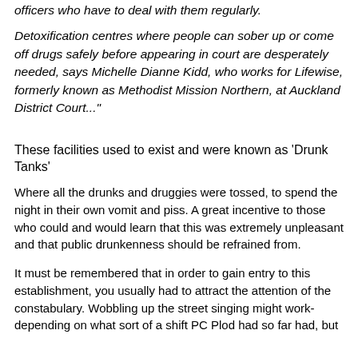officers who have to deal with them regularly.
Detoxification centres where people can sober up or come off drugs safely before appearing in court are desperately needed, says Michelle Dianne Kidd, who works for Lifewise, formerly known as Methodist Mission Northern, at Auckland District Court..."
These facilities used to exist and were known as 'Drunk Tanks'
Where all the drunks and druggies were tossed, to spend the night in their own vomit and piss. A great incentive to those who could and would learn that this was extremely unpleasant and that public drunkenness should be refrained from.
It must be remembered that in order to gain entry to this establishment, you usually had to attract the attention of the constabulary. Wobbling up the street singing might work- depending on what sort of a shift PC Plod had so far had, but